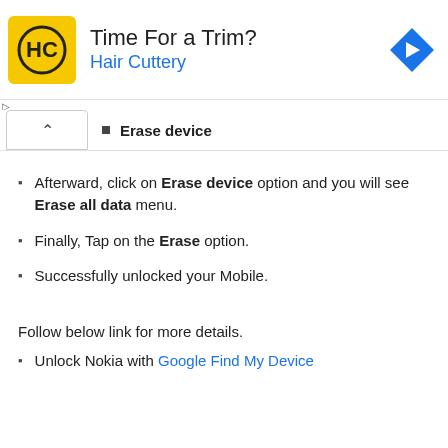[Figure (screenshot): Hair Cuttery advertisement banner with logo, 'Time For a Trim?' headline, and navigation icon]
Erase device
Afterward, click on Erase device option and you will see Erase all data menu.
Finally, Tap on the Erase option.
Successfully unlocked your Mobile.
Follow below link for more details.
Unlock Nokia with Google Find My Device